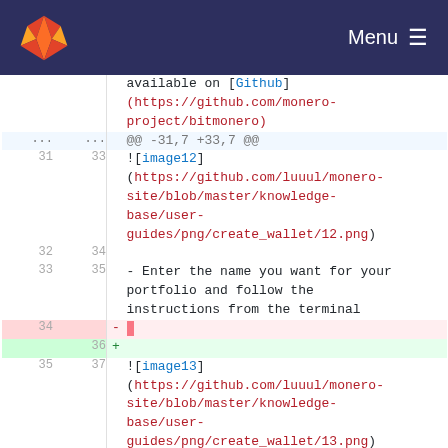GitLab — Menu
available on [Github](https://github.com/monero-project/bitmonero)
@@ -31,7 +33,7 @@
31  33  ![image12](https://github.com/luuul/monero-site/blob/master/knowledge-base/user-guides/png/create_wallet/12.png)
32  34  (empty line)
33  35  - Enter the name you want for your portfolio and follow the instructions from the terminal
34      - (deleted blank line)
36  + (added blank line)
35  37  ![image13](https://github.com/luuul/monero-site/blob/master/knowledge-base/user-guides/png/create_wallet/13.png)